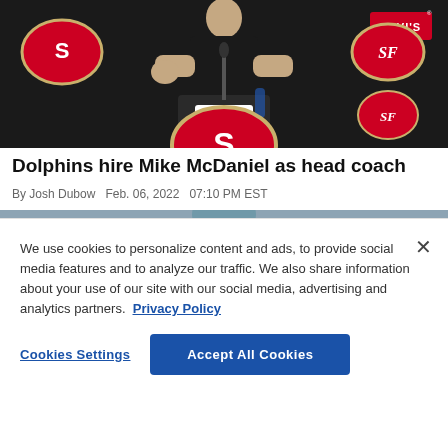[Figure (photo): Person in black 49ers shirt standing at a podium/lectern at a press conference. San Francisco 49ers logos visible on backdrop. Levi's sponsor badge visible top right.]
Dolphins hire Mike McDaniel as head coach
By Josh Dubow  Feb. 06, 2022  07:10 PM EST
[Figure (photo): Partial view of second image, cropped at top of frame showing a person.]
We use cookies to personalize content and ads, to provide social media features and to analyze our traffic. We also share information about your use of our site with our social media, advertising and analytics partners.  Privacy Policy
Cookies Settings    Accept All Cookies